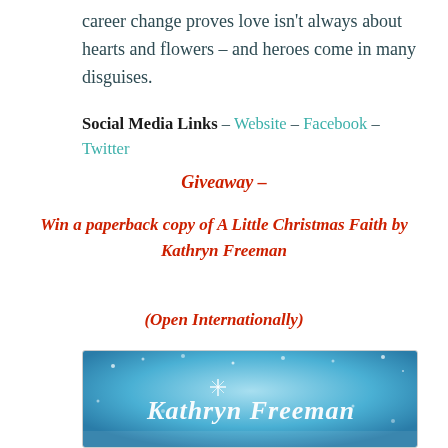career change proves love isn't always about hearts and flowers – and heroes come in many disguises.
Social Media Links – Website – Facebook – Twitter
Giveaway –
Win a paperback copy of A Little Christmas Faith by Kathryn Freeman
(Open Internationally)
[Figure (illustration): Book cover for 'A Little Christmas Faith' by Kathryn Freeman — blue winter/Christmas themed cover with snowflakes and sparkles, author name in white script text]